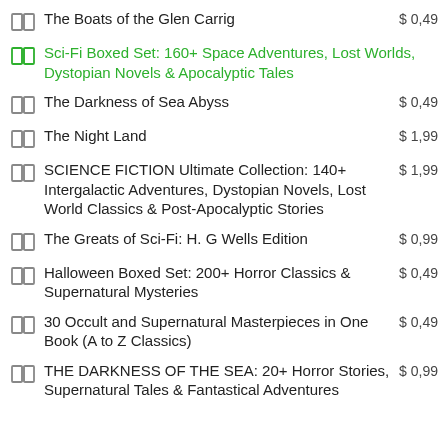The Boats of the Glen Carrig
Sci-Fi Boxed Set: 160+ Space Adventures, Lost Worlds, Dystopian Novels & Apocalyptic Tales
The Darkness of Sea Abyss
The Night Land
SCIENCE FICTION Ultimate Collection: 140+ Intergalactic Adventures, Dystopian Novels, Lost World Classics & Post-Apocalyptic Stories
The Greats of Sci-Fi: H. G Wells Edition
Halloween Boxed Set: 200+ Horror Classics & Supernatural Mysteries
30 Occult and Supernatural Masterpieces in One Book (A to Z Classics)
THE DARKNESS OF THE SEA: 20+ Horror Stories, Supernatural Tales & Fantastical Adventures